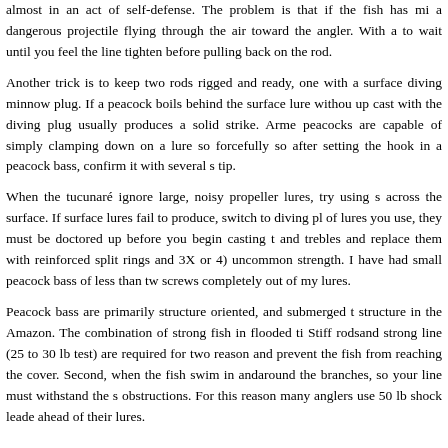almost in an act of self-defense. The problem is that if the fish has mi a dangerous projectile flying through the air toward the angler. With a to wait until you feel the line tighten before pulling back on the rod.
Another trick is to keep two rods rigged and ready, one with a surface diving minnow plug. If a peacock boils behind the surface lure without up cast with the diving plug usually produces a solid strike. Arme peacocks are capable of simply clamping down on a lure so forcefully so after setting the hook in a peacock bass, confirm it with several s tip.
When the tucunaré ignore large, noisy propeller lures, try using s across the surface. If surface lures fail to produce, switch to diving pl of lures you use, they must be doctored up before you begin casting t and trebles and replace them with reinforced split rings and 3X or 4) uncommon strength. I have had small peacock bass of less than tw screws completely out of my lures.
Peacock bass are primarily structure oriented, and submerged t structure in the Amazon. The combination of strong fish in flooded ti Stiff rodsand strong line (25 to 30 lb test) are required for two reason and prevent the fish from reaching the cover. Second, when the fish swim in andaround the branches, so your line must withstand the s obstructions. For this reason many anglers use 50 lb shock leade ahead of their lures.